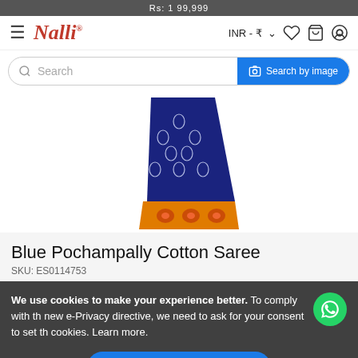Rs. 1 99,999
[Figure (logo): Nalli brand logo in red cursive script with registered trademark symbol]
INR - ₹
[Figure (screenshot): Navigation search bar with 'Search' placeholder and 'Search by image' blue button on the right]
[Figure (photo): Blue Pochampally Cotton Saree with orange border, folded/pleated view showing diamond patterns on blue fabric and floral motifs on orange border]
Blue Pochampally Cotton Saree
SKU: ES0114753
We use cookies to make your experience better. To comply with the new e-Privacy directive, we need to ask for your consent to set the cookies. Learn more.
Allow Cookies